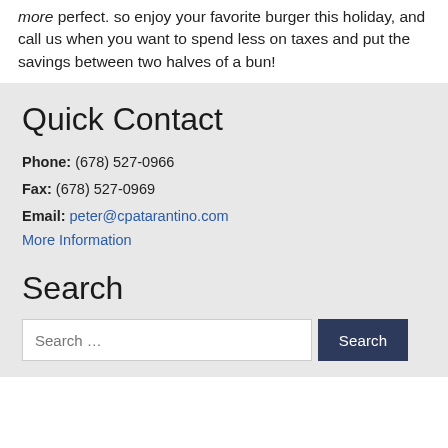more perfect. so enjoy your favorite burger this holiday, and call us when you want to spend less on taxes and put the savings between two halves of a bun!
Quick Contact
Phone: (678) 527-0966
Fax: (678) 527-0969
Email: peter@cpatarantino.com
More Information
Search